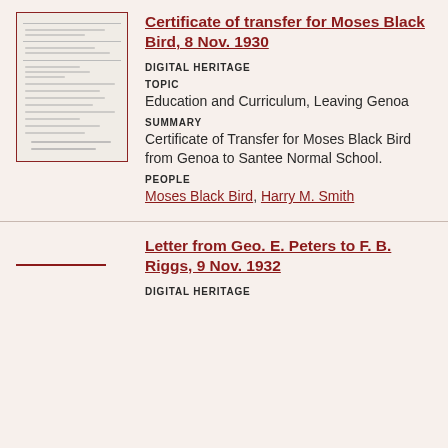[Figure (photo): Thumbnail image of a historical certificate of transfer document with text and a signature, bordered in dark red]
Certificate of transfer for Moses Black Bird, 8 Nov. 1930
DIGITAL HERITAGE
TOPIC
Education and Curriculum, Leaving Genoa
SUMMARY
Certificate of Transfer for Moses Black Bird from Genoa to Santee Normal School.
PEOPLE
Moses Black Bird, Harry M. Smith
[Figure (other): Placeholder area with a short dark red horizontal line, for letter thumbnail]
Letter from Geo. E. Peters to F. B. Riggs, 9 Nov. 1932
DIGITAL HERITAGE